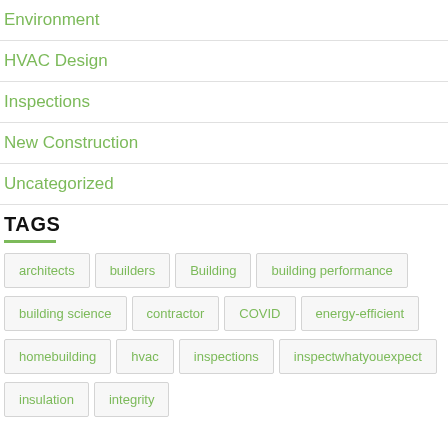Environment
HVAC Design
Inspections
New Construction
Uncategorized
TAGS
architects
builders
Building
building performance
building science
contractor
COVID
energy-efficient
homebuilding
hvac
inspections
inspectwhatyouexpect
insulation
integrity